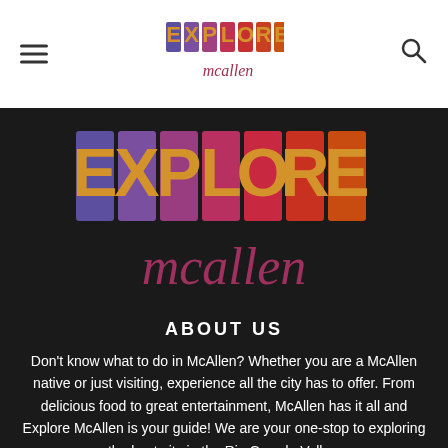[Figure (logo): Explore McAllen logo in header with colorful letter tiles spelling EXPLORE and mcallen text below]
[Figure (logo): Large Explore McAllen logo on dark background with colorful letter tiles spelling EXPLORE and mcallen text below]
ABOUT US
Don't know what to do in McAllen? Whether you are a McAllen native or just visiting, experience all the city has to offer. From delicious food to great entertainment, McAllen has it all and Explore McAllen is your guide! We are your one-stop to exploring the best city in the Rio Grande Valley.